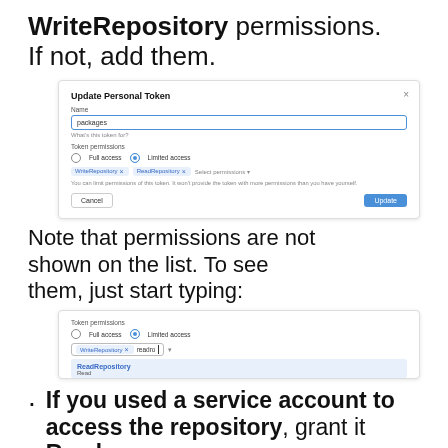WriteRepository permissions. If not, add them.
[Figure (screenshot): Update Personal Token dialog with Name field containing 'packages', Token permissions section showing Full access and Limited access radio buttons (Limited access selected), WriteRepository and ReadRepository tags, Select permissions dropdown, a note about limiting permissions, Cancel and Update buttons.]
Note that permissions are not shown on the list. To see them, just start typing:
[Figure (screenshot): Token permissions section with Full access and Limited access radio buttons (Limited access selected), WriteRepository tag, and a text input showing 'readro' being typed. A dropdown shows ReadRepository with Read subtitle highlighted in blue.]
If you used a service account to access the repository, grant it Read